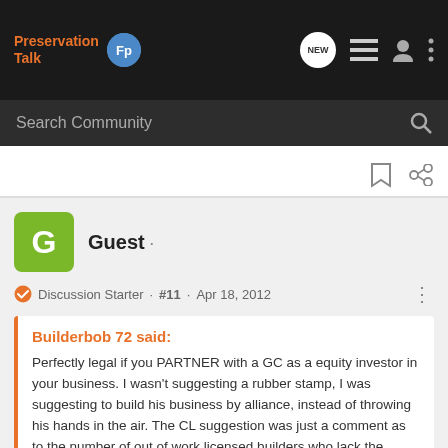Preservation Talk
Search Community
Guest ·
Discussion Starter · #11 · Apr 18, 2012
Builderbob 72 said:
Perfectly legal if you PARTNER with a GC as a equity investor in your business. I wasn't suggesting a rubber stamp, I was suggesting to build his business by alliance, instead of throwing his hands in the air. The CL suggestion was just a comment as to the number of out of work licensed builders who lack the marketing skills to locate their own work.